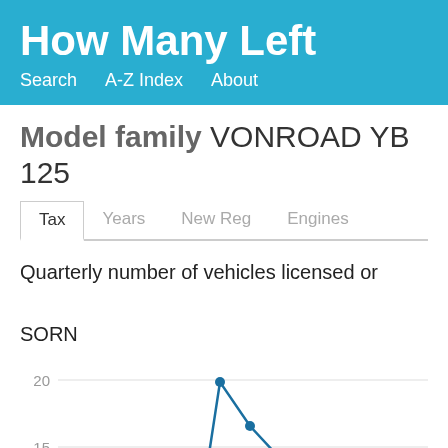How Many Left
Search   A-Z Index   About
Model family VONROAD YB 125
Tax   Years   New Reg   Engines
Quarterly number of vehicles licensed or SORN
[Figure (line-chart): Line chart showing quarterly vehicle counts around 15-17, with a peak near 17 visible in the lower portion of the chart]